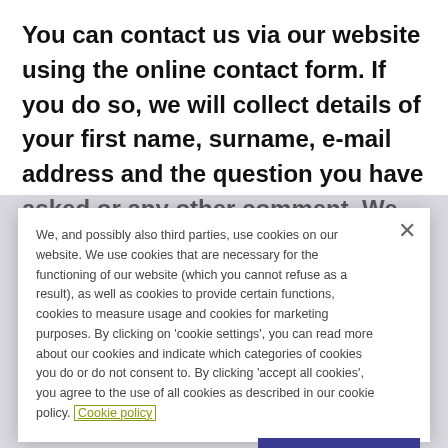You can contact us via our website using the online contact form. If you do so, we will collect details of your first name, surname, e-mail address and the question you have asked or any other comment. We have a legitimate interest in collecting the information you
We, and possibly also third parties, use cookies on our website. We use cookies that are necessary for the functioning of our website (which you cannot refuse as a result), as well as cookies to provide certain functions, cookies to measure usage and cookies for marketing purposes. By clicking on 'cookie settings', you can read more about our cookies and indicate which categories of cookies you do or do not consent to. By clicking 'accept all cookies', you agree to the use of all cookies as described in our cookie policy. Cookie policy
Cookies Settings
Accept All Cookies